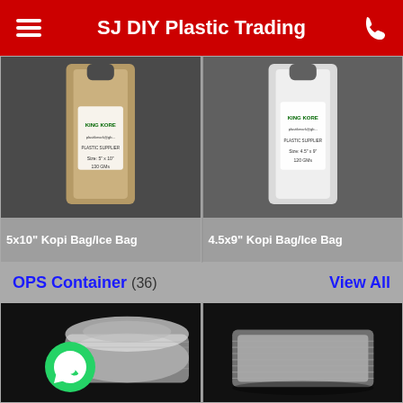SJ DIY Plastic Trading
[Figure (photo): 5x10 inch Kopi Bag/Ice Bag product photo - brown/transparent plastic bag with King Kore branding on dark background]
5x10" Kopi Bag/Ice Bag
[Figure (photo): 4.5x9 inch Kopi Bag/Ice Bag product photo - white/transparent plastic bag with King Kore branding on dark background]
4.5x9" Kopi Bag/Ice Bag
OPS Container (36)
View All
[Figure (photo): Clear OPS plastic food container with hinged lid on black background, with WhatsApp button overlay]
[Figure (photo): Clear OPS plastic food container tray on black background]